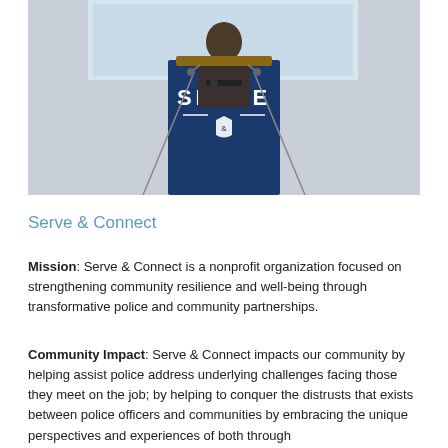[Figure (photo): A person standing at a podium with a blue drape that reads 'SERVE' and a police badge emblem, speaking at an event. Microphones are visible on either side.]
Serve & Connect
Mission: Serve & Connect is a nonprofit organization focused on strengthening community resilience and well-being through transformative police and community partnerships.
Community Impact: Serve & Connect impacts our community by helping assist police address underlying challenges facing those they meet on the job; by helping to conquer the distrusts that exists between police officers and communities by embracing the unique perspectives and experiences of both through